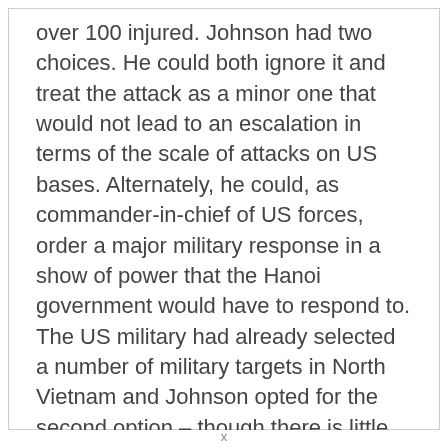over 100 injured. Johnson had two choices. He could both ignore it and treat the attack as a minor one that would not lead to an escalation in terms of the scale of attacks on US bases. Alternately, he could, as commander-in-chief of US forces, order a major military response in a show of power that the Hanoi government would have to respond to. The US military had already selected a number of military targets in North Vietnam and Johnson opted for the second option – though there is little evidence that Johnson was willing to try the diplomatic approach at this moment in time. Within twelve hours of the attack on Camp Holloway, Johnson ordered aircraft from the carriers 'USS Coral
x